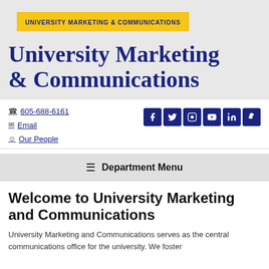UNIVERSITY MARKETING & COMMUNICATIONS
University Marketing & Communications
605-688-6161
Email
Our People
Department Menu
Welcome to University Marketing and Communications
University Marketing and Communications serves as the central communications office for the university. We foster